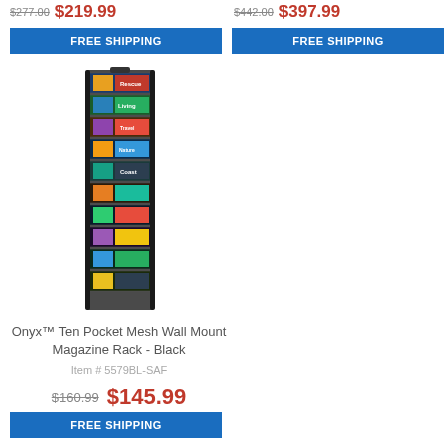$277.00 $219.99
$442.00 $397.99
FREE SHIPPING
FREE SHIPPING
[Figure (photo): Onyx Ten Pocket Mesh Wall Mount Magazine Rack in black, tall and narrow with 10 pockets filled with magazines]
Onyx™ Ten Pocket Mesh Wall Mount Magazine Rack - Black
Item # 5579BL-SAF
$160.99 $145.99
FREE SHIPPING